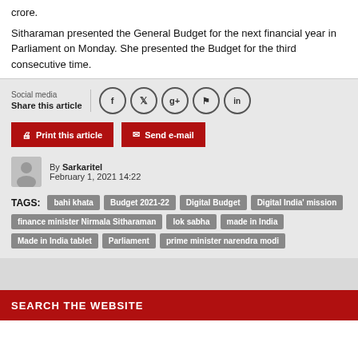crore.
Sitharaman presented the General Budget for the next financial year in Parliament on Monday. She presented the Budget for the third consecutive time.
Social media Share this article
Print this article   Send e-mail
By Sarkaritel February 1, 2021 14:22
TAGS: bahi khata  Budget 2021-22  Digital Budget  Digital India' mission  finance minister Nirmala Sitharaman  lok sabha  made in India  Made in India tablet  Parliament  prime minister narendra modi
SEARCH THE WEBSITE